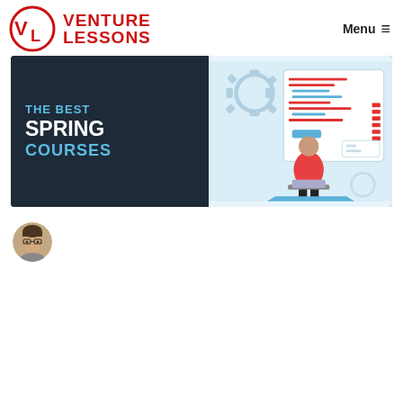[Figure (logo): Venture Lessons logo with VL circular icon in red and text VENTURE LESSONS in red bold capitals]
[Figure (illustration): Hero banner image for '7 Best Spring Courses' article. Left half: dark navy background with text 'THE BEST SPRING COURSES' in blue and white bold text. Right half: light blue background with illustration of a person sitting with a laptop, gears, and a UI/code interface panel.]
[Figure (photo): Circular avatar photo of the author, a young man with glasses and dark hair, used as profile picture for VL Team.]
Written by
VL Team
7 Best Spring Courses, Classes and Tutorials Online